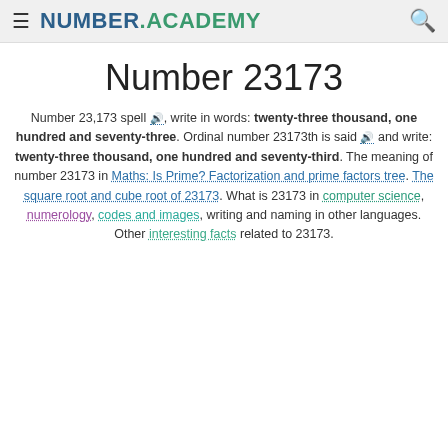NUMBER.ACADEMY
Number 23173
Number 23,173 spell 🔊, write in words: twenty-three thousand, one hundred and seventy-three. Ordinal number 23173th is said 🔊 and write: twenty-three thousand, one hundred and seventy-third. The meaning of number 23173 in Maths: Is Prime? Factorization and prime factors tree. The square root and cube root of 23173. What is 23173 in computer science, numerology, codes and images, writing and naming in other languages. Other interesting facts related to 23173.